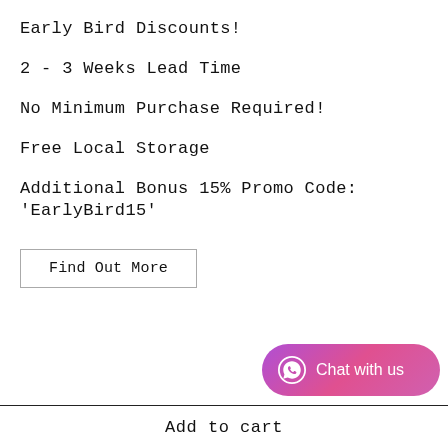Early Bird Discounts!
2 - 3 Weeks Lead Time
No Minimum Purchase Required!
Free Local Storage
Additional Bonus 15% Promo Code: 'EarlyBird15'
Find Out More
[Figure (other): Chat with us button with WhatsApp-style icon, purple-pink gradient background]
Add to cart